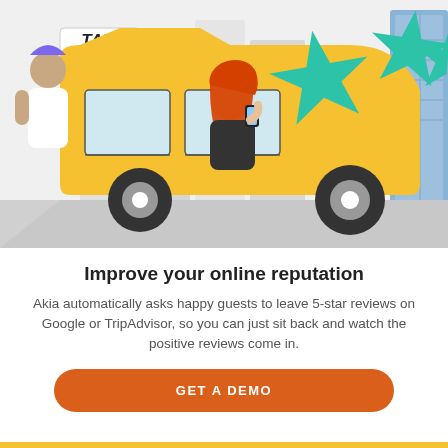[Figure (illustration): Illustration of a yellow taxi cab on a city street with teal/green star rating icons floating above. A woman with red hair sits in the taxi holding a phone. A person with blue/purple hair stands to the left. Buildings visible in the background.]
Improve your online reputation
Akia automatically asks happy guests to leave 5-star reviews on Google or TripAdvisor, so you can just sit back and watch the positive reviews come in.
GET A DEMO